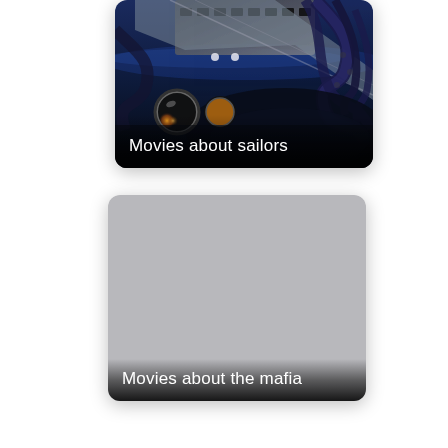[Figure (illustration): Card thumbnail for 'Movies about sailors' showing a dark artistic painting with sea creatures, tentacles, mechanical elements, and a glowing submarine porthole with light.]
Movies about sailors
[Figure (photo): Card thumbnail for 'Movies about the mafia' showing a plain light grey placeholder rectangle with rounded corners.]
Movies about the mafia